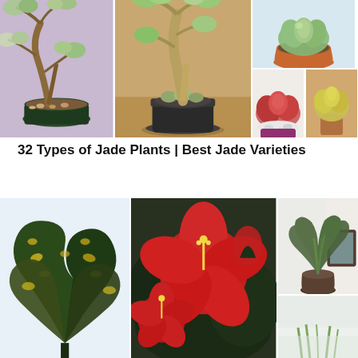[Figure (photo): Collage of jade plant varieties including bonsai jade, succulent jade in pots, and colorful jade species]
32 Types of Jade Plants | Best Jade Varieties
[Figure (photo): Collage of houseplants including croton with yellow-spotted leaves, red hibiscus flowers, and palm/grass plants by a window]